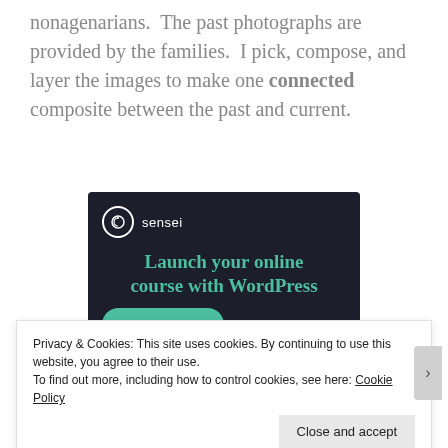nonagenarians. The past photographs are provided by the families. I pick, compose, and layer the images to make one connected composite between the past and current.
[Figure (screenshot): Advertisement for Sensei plugin: dark background with teal 'Launch your online course with WordPress' headline, logo, and 'Learn More' button]
Privacy & Cookies: This site uses cookies. By continuing to use this website, you agree to their use. To find out more, including how to control cookies, see here: Cookie Policy